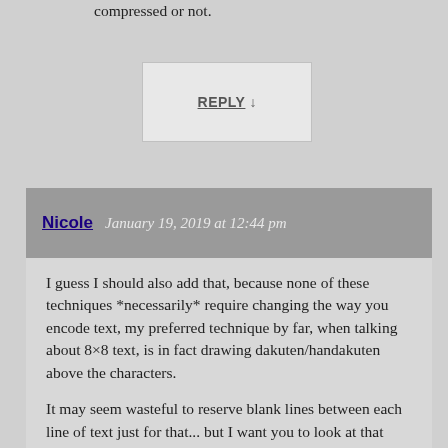compressed or not.
REPLY ↓
Nicole   January 19, 2019 at 12:44 pm
I guess I should also add that, because none of these techniques *necessarily* require changing the way you encode text, my preferred technique by far, when talking about 8×8 text, is in fact drawing dakuten/handakuten above the characters.
It may seem wasteful to reserve blank lines between each line of text just for that... but I want you to look at that Goonies example again. You'll notice that, even though it puts dakuten/handakuten to the side, that game still uses double-spaced text. In fact, if you look at the